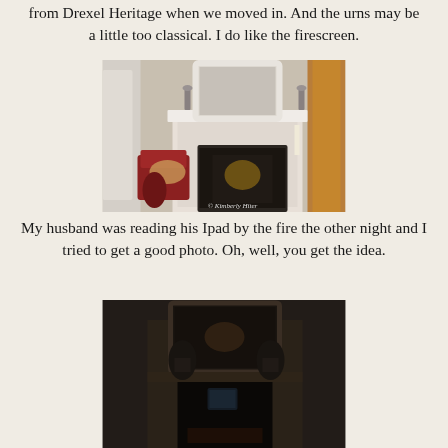from Drexel Heritage when we moved in. And the urns may be a little too classical. I do like the firescreen.
[Figure (photo): Interior photo of an ornate white fireplace mantel with decorative mirror above, candelabras on the mantel, a gold firescreen, red chair and curtains visible. Watermark: © Kimberly Hiter]
My husband was reading his Ipad by the fire the other night and I tried to get a good photo. Oh, well, you get the idea.
[Figure (photo): Dark interior photo of a fireplace at night, barely lit, showing the mantel silhouette with decorative items on it.]